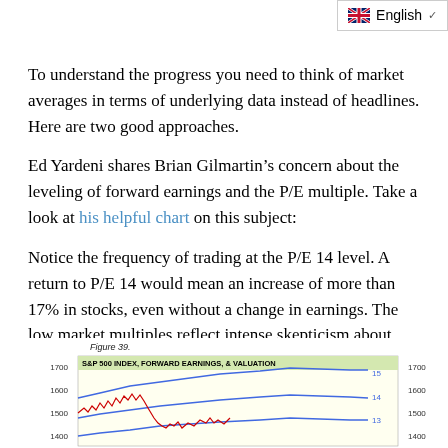English
To understand the progress you need to think of market averages in terms of underlying data instead of headlines. Here are two good approaches.
Ed Yardeni shares Brian Gilmartin’s concern about the leveling of forward earnings and the P/E multiple. Take a look at his helpful chart on this subject:
Notice the frequency of trading at the P/E 14 level. A return to P/E 14 would mean an increase of more than 17% in stocks, even without a change in earnings. The low market multiples reflect intense skepticism about whether earnings will be delivered. This changes as evidence accrues.
[Figure (continuous-plot): Partial view of Figure 39: S&P 500 INDEX, FORWARD EARNINGS, & VALUATION. A line chart showing multiple colored lines (blue and red) with y-axis labels on both sides showing values from approximately 1400 to 1700 on the left and right sides. The chart title reads 'S&P 500 INDEX, FORWARD EARNINGS, & VALUATION'. Lines labeled 15, 14, 13 are visible on the right side.]